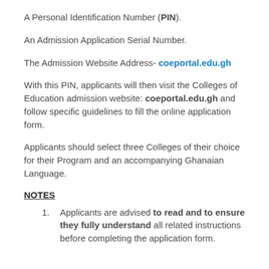A Personal Identification Number (PIN).
An Admission Application Serial Number.
The Admission Website Address- coeportal.edu.gh
With this PIN, applicants will then visit the Colleges of Education admission website: coeportal.edu.gh and follow specific guidelines to fill the online application form.
Applicants should select three Colleges of their choice for their Program and an accompanying Ghanaian Language.
NOTES
Applicants are advised to read and to ensure they fully understand all related instructions before completing the application form.